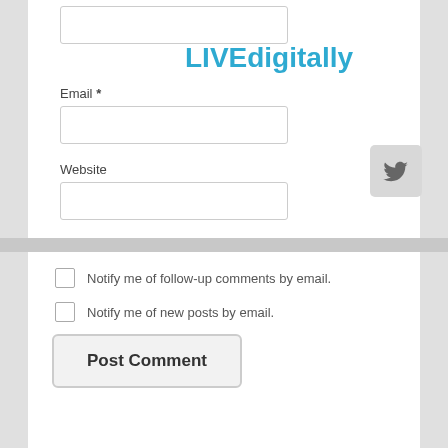[Figure (screenshot): Website comment form screenshot showing Email field with input box, LIVEdigitally logo in blue, Twitter share button, Website field with input box, checkboxes for email notifications, Post Comment button, ABOUT section header, and social sharing bar at bottom]
LIVEdigitally
Email *
Website
Notify me of follow-up comments by email.
Notify me of new posts by email.
Post Comment
ABOUT
Jeremy Toeman is a seasoned Product leader with over 20
Shares